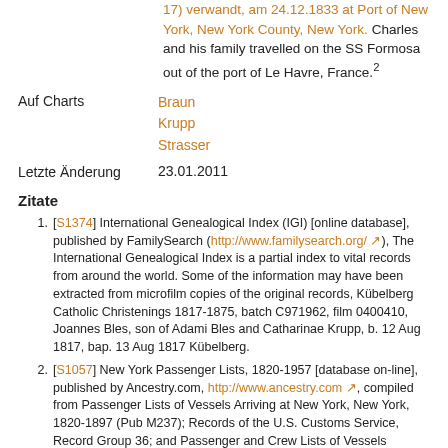17) verwandt, am 24.12.1833 at Port of New York, New York County, New York. Charles and his family travelled on the SS Formosa out of the port of Le Havre, France.²
Auf Charts
Braun
Krupp
Strasser
Letzte Änderung
23.01.2011
Zitate
[S1374] International Genealogical Index (IGI) [online database], published by FamilySearch (http://www.familysearch.org/), The International Genealogical Index is a partial index to vital records from around the world. Some of the information may have been extracted from microfilm copies of the original records, Kübelberg Catholic Christenings 1817-1875, batch C971962, film 0400410, Joannes Bles, son of Adami Bles and Catharinae Krupp, b. 12 Aug 1817, bap. 13 Aug 1817 Kübelberg.
[S1057] New York Passenger Lists, 1820-1957 [database on-line], published by Ancestry.com, http://www.ancestry.com, compiled from Passenger Lists of Vessels Arriving at New York, New York, 1820-1897 (Pub M237); Records of the U.S. Customs Service, Record Group 36; and Passenger and Crew Lists of Vessels Arriving at New York, New York, 1897-1957 (Pub T715), Microfilm